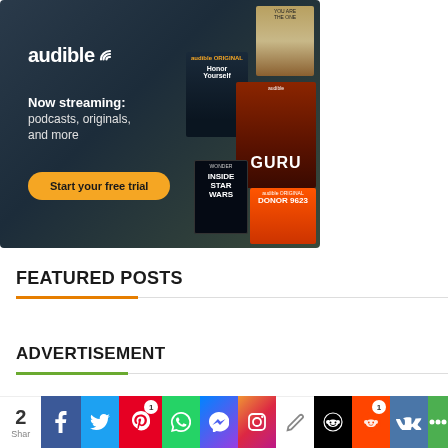[Figure (photo): Audible advertisement banner with dark teal/slate background. Shows the Audible logo with headphone wave icon, text 'Now streaming: podcasts, originals, and more', an orange 'Start your free trial' button, and several audiobook covers including 'Honor Yourself', 'GURU', 'Inside Star Wars', 'DONOR 9623', and a woman's portrait book cover.]
FEATURED POSTS
ADVERTISEMENT
2 Shares
[Figure (infographic): Social media share bar with Facebook, Twitter, Pinterest (badge:1), WhatsApp, Messenger, Instagram, pencil/edit, Reddit (dark), Reddit (red, badge:1), VK, and more (+) buttons.]